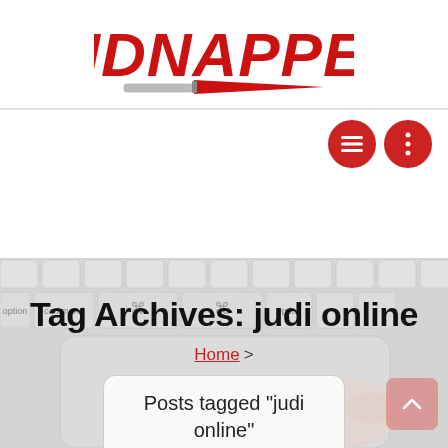[Figure (logo): KIDNAPPED logo in bold red block letters with a knife/blade graphic underneath]
[Figure (other): Two red circular icon buttons: hamburger menu icon and vertical dots (more options) icon]
[Figure (photo): Background photo of a MacBook keyboard with a hand touching the trackpad]
Tag Archives: judi online
Home >
Posts tagged "judi online"